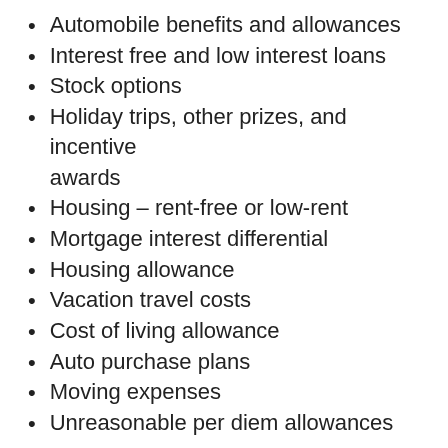Automobile benefits and allowances
Interest free and low interest loans
Stock options
Holiday trips, other prizes, and incentive awards
Housing – rent-free or low-rent
Mortgage interest differential
Housing allowance
Vacation travel costs
Cost of living allowance
Auto purchase plans
Moving expenses
Unreasonable per diem allowances